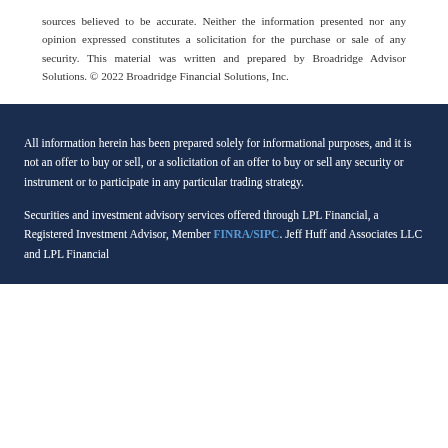sources believed to be accurate. Neither the information presented nor any opinion expressed constitutes a solicitation for the purchase or sale of any security. This material was written and prepared by Broadridge Advisor Solutions. © 2022 Broadridge Financial Solutions, Inc.
All information herein has been prepared solely for informational purposes, and it is not an offer to buy or sell, or a solicitation of an offer to buy or sell any security or instrument or to participate in any particular trading strategy.
Securities and investment advisory services offered through LPL Financial, a Registered Investment Advisor, Member FINRA/SIPC. Jeff Huff and Associates LLC and LPL Financial